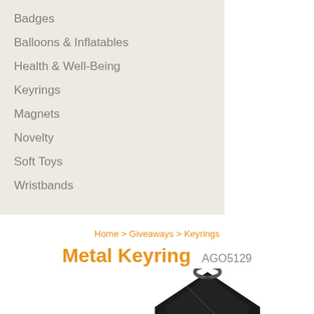Badges
Balloons & Inflatables
Health & Well-Being
Keyrings
Magnets
Novelty
Soft Toys
Wristbands
Home > Giveaways > Keyrings
Metal Keyring AGO5129
[Figure (photo): Metal keyring product photo, black metal keyring partially visible at bottom of page]